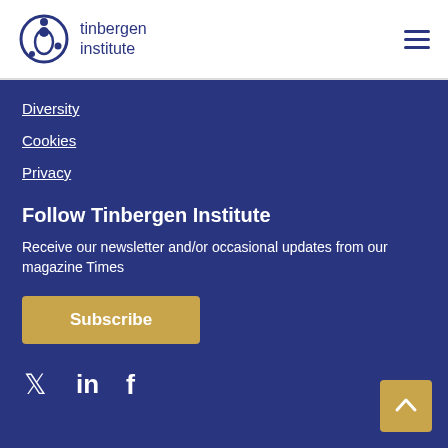[Figure (logo): Tinbergen Institute logo with circular icon and text 'tinbergen institute']
Diversity
Cookies
Privacy
Follow Tinbergen Institute
Receive our newsletter and/or occasional updates from our magazine Times
Subscribe
[Figure (infographic): Twitter, LinkedIn, and Facebook social media icons in white]
[Figure (other): Back to top arrow button in gold/yellow]